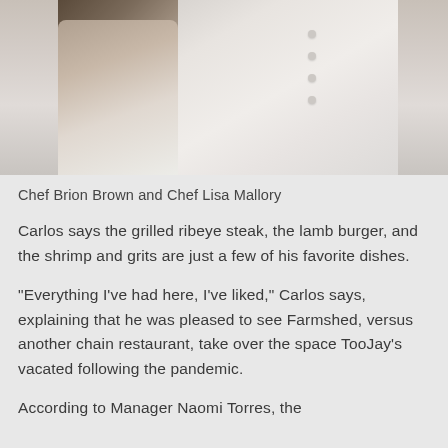[Figure (photo): Two chefs in white chef coats, Chef Brion Brown and Chef Lisa Mallory, shown from approximately chest/shoulder level down]
Chef Brion Brown and Chef Lisa Mallory
Carlos says the grilled ribeye steak, the lamb burger, and the shrimp and grits are just a few of his favorite dishes.
“Everything I’ve had here, I’ve liked,” Carlos says, explaining that he was pleased to see Farmshed, versus another chain restaurant, take over the space TooJay’s vacated following the pandemic.
According to Manager Naomi Torres, the